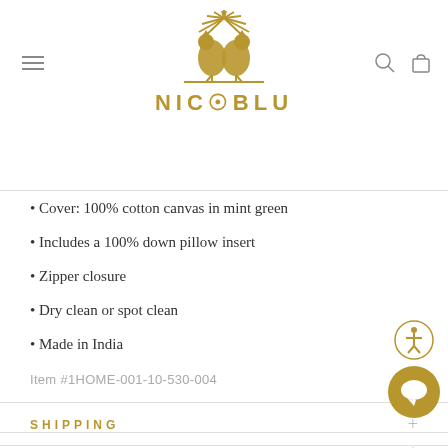NicoBlu logo header with navigation icons
Cover: 100% cotton canvas in mint green
Includes a 100% down pillow insert
Zipper closure
Dry clean or spot clean
Made in India
Item #1HOME-001-10-530-004
SHIPPING
RETURNS & EXCHANGES